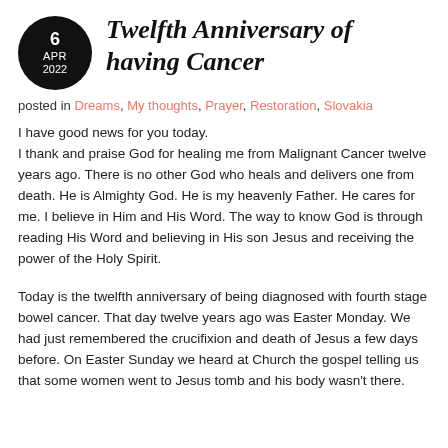Twelfth Anniversary of having Cancer
posted in Dreams, My thoughts, Prayer, Restoration, Slovakia
I have good news for you today.
I thank and praise God for healing me from Malignant Cancer twelve years ago. There is no other God who heals and delivers one from death. He is Almighty God. He is my heavenly Father. He cares for me. I believe in Him and His Word. The way to know God is through reading His Word and believing in His son Jesus and receiving the power of the Holy Spirit.
Today is the twelfth anniversary of being diagnosed with fourth stage bowel cancer. That day twelve years ago was Easter Monday. We had just remembered the crucifixion and death of Jesus a few days before. On Easter Sunday we heard at Church the gospel telling us that some women went to Jesus tomb and his body wasn't there.